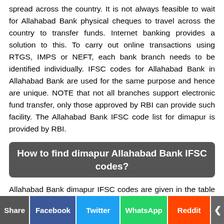spread across the country. It is not always feasible to wait for Allahabad Bank physical cheques to travel across the country to transfer funds. Internet banking provides a solution to this. To carry out online transactions using RTGS, IMPS or NEFT, each bank branch needs to be identified individually. IFSC codes for Allahabad Bank in Allahabad Bank are used for the same purpose and hence are unique. NOTE that not all branches support electronic fund transfer, only those approved by RBI can provide such facility. The Allahabad Bank IFSC code list for dimapur is provided by RBI.
How to find dimapur Allahabad Bank IFSC codes?
Allahabad Bank dimapur IFSC codes are given in the table alongside. Details including address and contact numbers for are also provided. These details will help you to verify the
Share | Facebook | Twitter | WhatsApp | Reddit